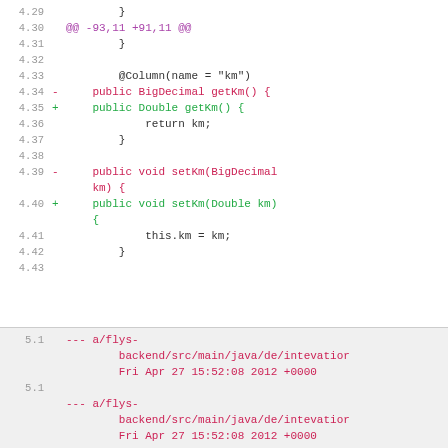Diff code block showing changes from BigDecimal to Double in Java source file, lines 4.29-5.8
[Figure (screenshot): Code diff view showing two sections: first section (white background) lines 4.29-4.43 showing Java getter/setter changes from BigDecimal to Double for km field; second section (gray background) lines 5.1-5.8 showing file header diff for flys-backend java model file with removal of BigDecimal import]